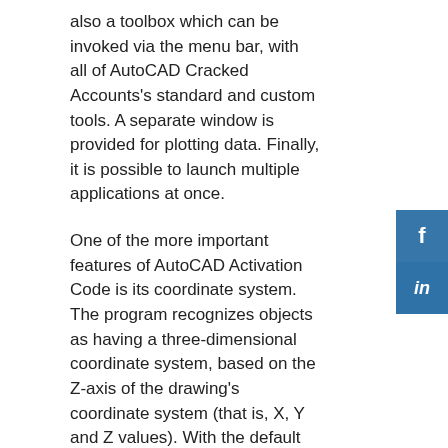also a toolbox which can be invoked via the menu bar, with all of AutoCAD Cracked Accounts's standard and custom tools. A separate window is provided for plotting data. Finally, it is possible to launch multiple applications at once.
One of the more important features of AutoCAD Activation Code is its coordinate system. The program recognizes objects as having a three-dimensional coordinate system, based on the Z-axis of the drawing's coordinate system (that is, X, Y and Z values). With the default settings, the x- and y-axes of the drawing plane are the “picture plane”.
There are four drawing spaces: “Work”, “Title”, “Model” and “Plot”. The Work space is used for drawing, where the cursor is set to the drawing position and other tools can be placed. The Title space contains the title of the drawing and commands used to manipulate the title.